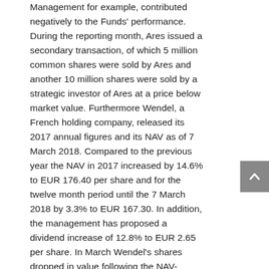Management for example, contributed negatively to the Funds' performance. During the reporting month, Ares issued a secondary transaction, of which 5 million common shares were sold by Ares and another 10 million shares were sold by a strategic investor of Ares at a price below market value. Furthermore Wendel, a French holding company, released its 2017 annual figures and its NAV as of 7 March 2018. Compared to the previous year the NAV in 2017 increased by 14.6% to EUR 176.40 per share and for the twelve month period until the 7 March 2018 by 3.3% to EUR 167.30. In addition, the management has proposed a dividend increase of 12.8% to EUR 2.65 per share. In March Wendel's shares dropped in value following the NAV-decrease in 2018, which according to the management was caused by the more conservative valuation methodology used under the new CEO. On a positive note, the business development company New Mountain Finance Corporation developed